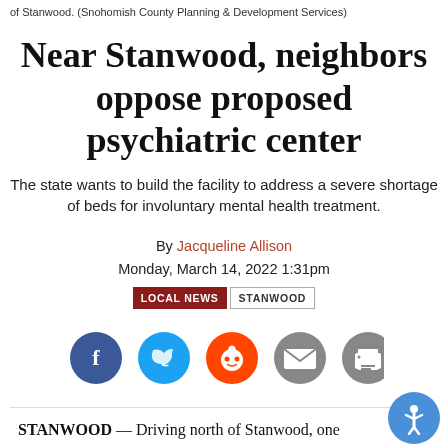of Stanwood. (Snohomish County Planning & Development Services)
Near Stanwood, neighbors oppose proposed psychiatric center
The state wants to build the facility to address a severe shortage of beds for involuntary mental health treatment.
By Jacqueline Allison
Monday, March 14, 2022 1:31pm
LOCAL NEWS   STANWOOD
[Figure (infographic): Social media share icons: Facebook (blue), Twitter (light blue), Reddit (orange), Email (grey), Print (grey)]
STANWOOD — Driving north of Stanwood, one